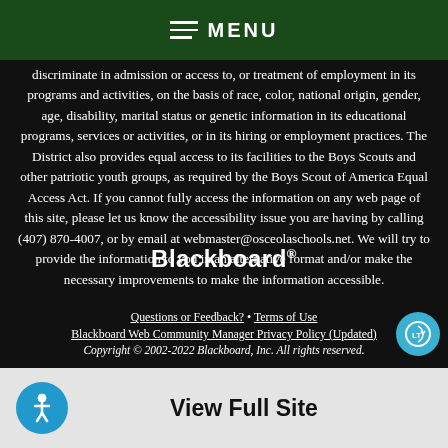MENU
discriminate in admission or access to, or treatment of employment in its programs and activities, on the basis of race, color, national origin, gender, age, disability, marital status or genetic information in its educational programs, services or activities, or in its hiring or employment practices. The District also provides equal access to its facilities to the Boys Scouts and other patriotic youth groups, as required by the Boys Scout of America Equal Access Act. If you cannot fully access the information on any web page of this site, please let us know the accessibility issue you are having by calling (407) 870-4007, or by email at webmaster@osceolaschools.net. We will try to provide the information to you in an alternative format and/or make the necessary improvements to make the information accessible.
[Figure (logo): Blackboard logo with registered trademark symbol]
Questions or Feedback? • Terms of Use
Blackboard Web Community Manager Privacy Policy (Updated)
Copyright © 2002-2022 Blackboard, Inc. All rights reserved.
View Full Site